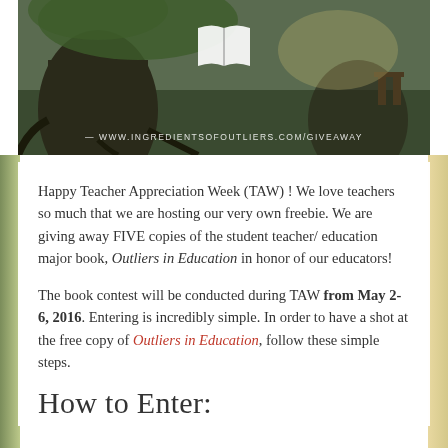[Figure (photo): Photo of large tree roots with a book icon overlay and URL text 'www.ingredientsofoutliers.com/giveaway' at the bottom]
Happy Teacher Appreciation Week (TAW) ! We love teachers so much that we are hosting our very own freebie. We are giving away FIVE copies of the student teacher/ education major book, Outliers in Education in honor of our educators!
The book contest will be conducted during TAW from May 2-6, 2016. Entering is incredibly simple. In order to have a shot at the free copy of Outliers in Education, follow these simple steps.
How to Enter: